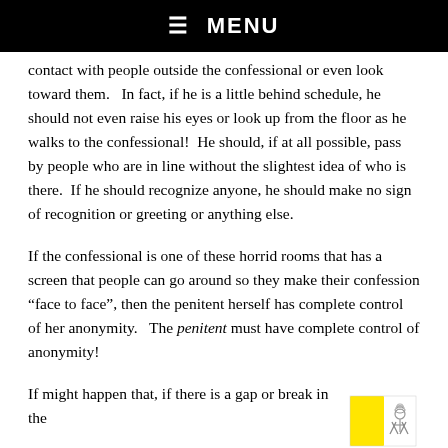☰  MENU
contact with people outside the confessional or even look toward them.   In fact, if he is a little behind schedule, he should not even raise his eyes or look up from the floor as he walks to the confessional!  He should, if at all possible, pass by people who are in line without the slightest idea of who is there.  If he should recognize anyone, he should make no sign of recognition or greeting or anything else.
If the confessional is one of these horrid rooms that has a screen that people can go around so they make their confession “face to face”, then the penitent herself has complete control of her anonymity.   The penitent must have complete control of anonymity!
If might happen that, if there is a gap or break in the
[Figure (illustration): Vatican flag illustration — yellow and white vertical stripes with papal insignia on the right side]